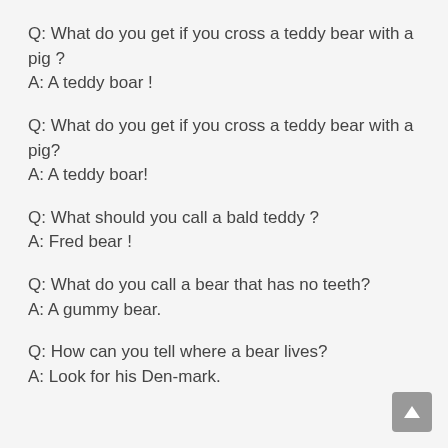Q: What do you get if you cross a teddy bear with a pig ?
A: A teddy boar !
Q: What do you get if you cross a teddy bear with a pig?
A: A teddy boar!
Q: What should you call a bald teddy ?
A: Fred bear !
Q: What do you call a bear that has no teeth?
A: A gummy bear.
Q: How can you tell where a bear lives?
A: Look for his Den-mark.